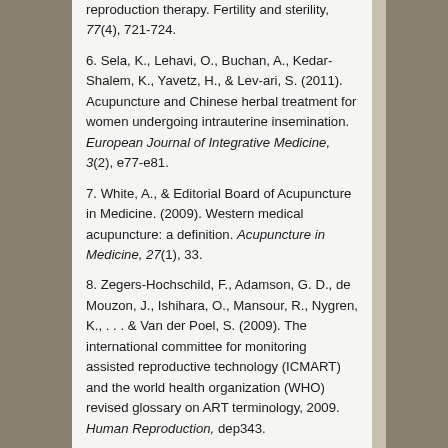reproduction therapy. Fertility and sterility, 77(4), 721-724.
6. Sela, K., Lehavi, O., Buchan, A., Kedar-Shalem, K., Yavetz, H., & Lev-ari, S. (2011). Acupuncture and Chinese herbal treatment for women undergoing intrauterine insemination. European Journal of Integrative Medicine, 3(2), e77-e81.
7. White, A., & Editorial Board of Acupuncture in Medicine. (2009). Western medical acupuncture: a definition. Acupuncture in Medicine, 27(1), 33.
8. Zegers-Hochschild, F., Adamson, G. D., de Mouzon, J., Ishihara, O., Mansour, R., Nygren, K., . . . & Van der Poel, S. (2009). The international committee for monitoring assisted reproductive technology (ICMART) and the world health organization (WHO) revised glossary on ART terminology, 2009. Human Reproduction, dep343.
9. Kaptchuk, T. J. (2002). Acupuncture: theory, efficacy,